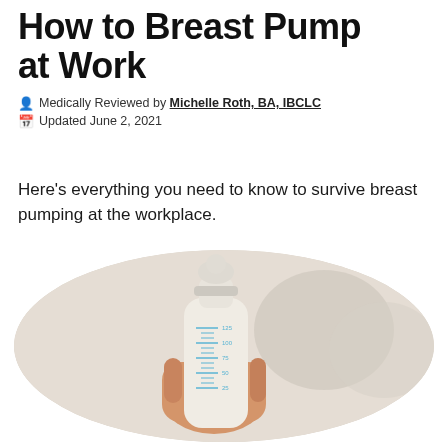How to Breast Pump at Work
Medically Reviewed by Michelle Roth, BA, IBCLC
Updated June 2, 2021
Here's everything you need to know to survive breast pumping at the workplace.
[Figure (photo): A hand holding a breast pump bottle with measurement markings, with breast pump flanges visible in the blurred background, set against a light background, displayed in an oval crop.]